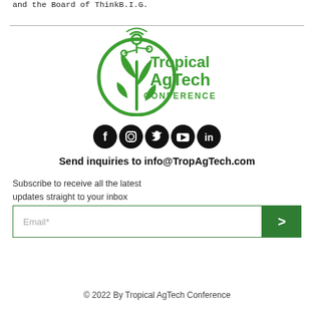and the Board of ThinkB.I.G.
[Figure (logo): Tropical AgTech Conference logo — green plant with circuit/tech elements and text 'Tropical AgTech CONFERENCE' in green]
[Figure (infographic): Row of 5 black circular social media icons: Facebook, Instagram, Twitter, YouTube, LinkedIn]
Send inquiries to info@TropAgTech.com
Subscribe to receive all the latest updates straight to your inbox
Email*
© 2022 By Tropical AgTech Conference